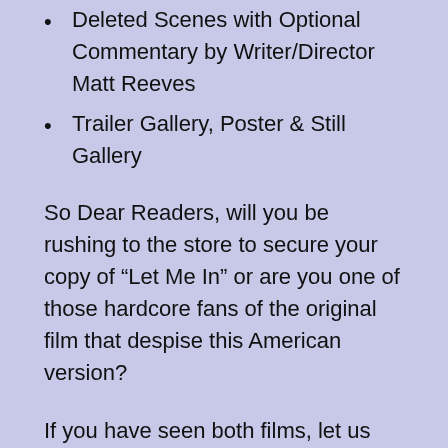Deleted Scenes with Optional Commentary by Writer/Director Matt Reeves
Trailer Gallery, Poster & Still Gallery
So Dear Readers, will you be rushing to the store to secure your copy of “Let Me In” or are you one of those hardcore fans of the original film that despise this American version?
If you have seen both films, let us know in a comment below which one you prefer. You can even make a list of the pros and cons of each if you want. If you haven’t seen either, you’ll soon have the chance to watch both back to back – which could be interesting